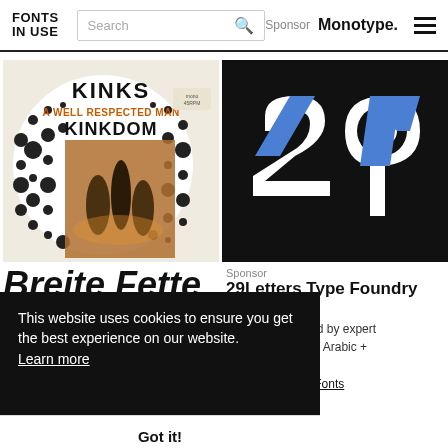FONTS IN USE | Search | Sponsor | Monotype.
[Figure (photo): Kinks - A Well Respected Man / Kinkdom album cover with black and white polka dot background and band silhouette]
[Figure (logo): 29Letters Type Foundry logo on black background showing blue and white stylized '29' letterforms]
Breite Fette
Sponsor
29Letters Type Foundry
29LT high-quality dual fonts designed by expert hers. Specialist in Arabic + ography
d 29LT Bi-Script Fonts
This website uses cookies to ensure you get the best experience on our website. Learn more
Got it!